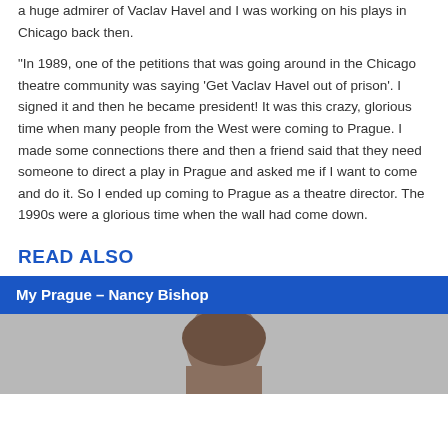a huge admirer of Vaclav Havel and I was working on his plays in Chicago back then.
“In 1989, one of the petitions that was going around in the Chicago theatre community was saying ‘Get Vaclav Havel out of prison’. I signed it and then he became president! It was this crazy, glorious time when many people from the West were coming to Prague. I made some connections there and then a friend said that they need someone to direct a play in Prague and asked me if I want to come and do it. So I ended up coming to Prague as a theatre director. The 1990s were a glorious time when the wall had come down.
READ ALSO
My Prague – Nancy Bishop
[Figure (photo): Photo of Nancy Bishop, partial view showing face and hair]